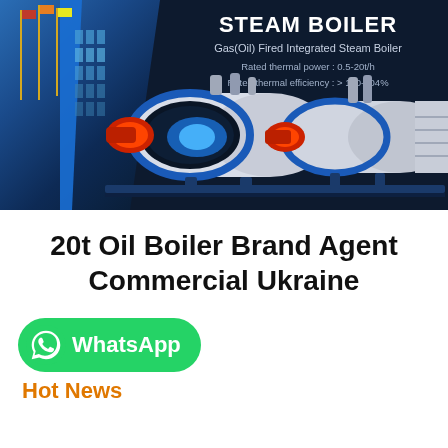[Figure (photo): Steam boiler product banner on dark navy background showing a building with flagpoles on the left and three industrial gas/oil fired integrated steam boilers on the right, with product title 'STEAM BOILER', subtitle 'Gas(Oil) Fired Integrated Steam Boiler', rated thermal power 0.5-20t/h, rated thermal efficiency >100-104%]
20t Oil Boiler Brand Agent Commercial Ukraine
[Figure (logo): WhatsApp button — green rounded rectangle with WhatsApp phone icon and text 'WhatsApp']
Hot News